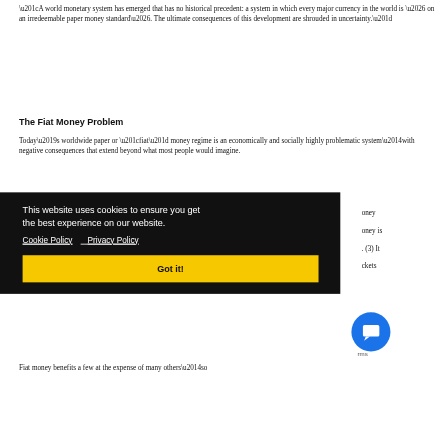“A world monetary system has emerged that has no historical precedent: a system in which every major currency in the world is … on an irredeemable paper money standard…. The ultimate consequences of this development are shrouded in uncertainty.”
The Fiat Money Problem
Today’s worldwide paper or “fiat” money regime is an economically and socially highly problematic system—with negative consequences that extend beyond what most people would imagine.
Fiat money benefits a few at the expense of many others—so